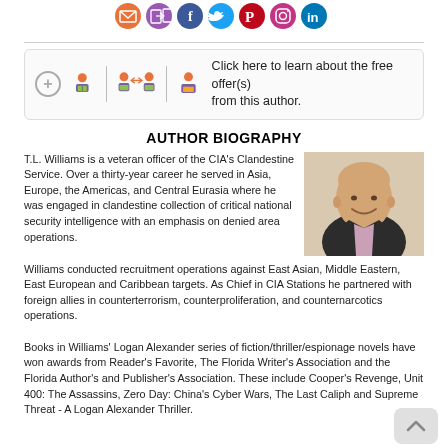[Figure (logo): Row of colorful social media icons (email, calendar/exchange, Facebook, Twitter, Pinterest, Instagram, LinkedIn) in orange, purple, blue color circles at top of page]
[Figure (infographic): Offer box with plus button, two people-exchange icons, and a person-with-book icon, with text 'Click here to learn about the free offer(s) from this author.']
AUTHOR BIOGRAPHY
T.L. Williams is a veteran officer of the CIA's Clandestine Service. Over a thirty-year career he served in Asia, Europe, the Americas, and Central Eurasia where he was engaged in clandestine collection of critical national security intelligence with an emphasis on denied area operations. Williams conducted recruitment operations against East Asian, Middle Eastern, East European and Caribbean targets. As Chief in CIA Stations he partnered with foreign allies in counterterrorism, counterproliferation, and counternarcotics operations.
[Figure (photo): Headshot of an older bald man smiling, wearing a dark blazer over a light purple/pink shirt, photographed outdoors with a light stone background]
Books in Williams' Logan Alexander series of fiction/thriller/espionage novels have won awards from Reader's Favorite, The Florida Writer's Association and the Florida Author's and Publisher's Association. These include Cooper's Revenge, Unit 400: The Assassins, Zero Day: China's Cyber Wars, The Last Caliph and Supreme Threat - A Logan Alexander Thriller.